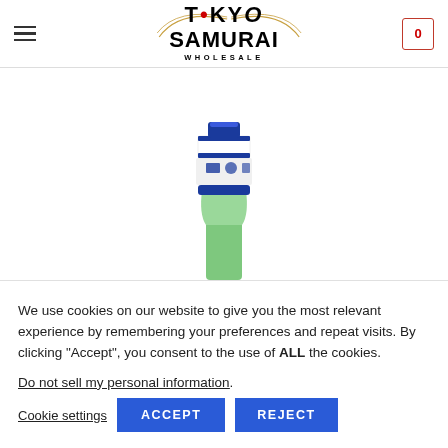Tokyo Samurai Wholesale
[Figure (photo): Close-up photo of a Japanese beverage bottle neck with blue and white label/foil wrap and green glass bottle body, on white background]
We use cookies on our website to give you the most relevant experience by remembering your preferences and repeat visits. By clicking “Accept”, you consent to the use of ALL the cookies.
Do not sell my personal information.
Cookie settings ACCEPT REJECT